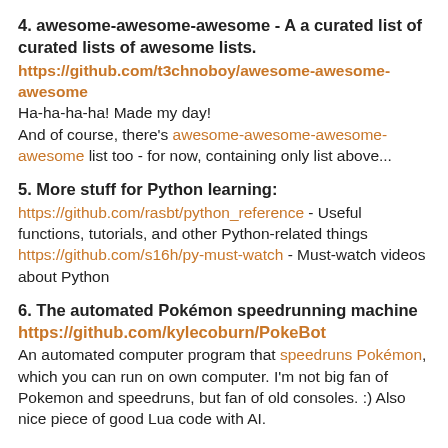4. awesome-awesome-awesome - A a curated list of curated lists of awesome lists. https://github.com/t3chnoboy/awesome-awesome-awesome
Ha-ha-ha-ha! Made my day!
And of course, there's awesome-awesome-awesome-awesome list too - for now, containing only list above...
5. More stuff for Python learning:
https://github.com/rasbt/python_reference - Useful functions, tutorials, and other Python-related things
https://github.com/s16h/py-must-watch - Must-watch videos about Python
6. The automated Pokémon speedrunning machine
https://github.com/kylecoburn/PokeBot
An automated computer program that speedruns Pokémon, which you can run on own computer. I'm not big fan of Pokemon and speedruns, but fan of old consoles. :) Also nice piece of good Lua code with AI.